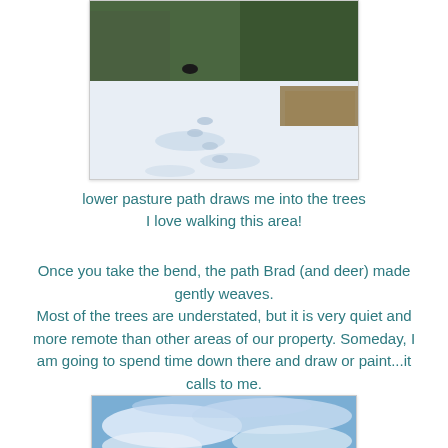[Figure (photo): Winter scene showing a snow-covered path leading through trees and brush in a lower pasture area]
lower pasture path draws me into the trees
I love walking this area!
Once you take the bend, the path Brad (and deer) made gently weaves.
Most of the trees are understated, but it is very quiet and more remote than other areas of our property. Someday, I am going to spend time down there and draw or paint...it calls to me.
[Figure (photo): Sky with blue and white clouds, partial view at bottom of page]